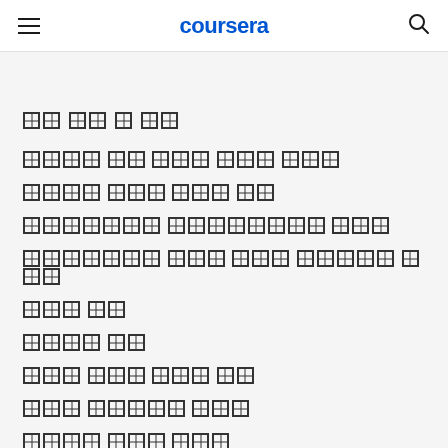coursera
[Korean text: 탐색 메뉴 및 카테고리]
[Korean: 무료로 시작할 수 있는 강좌]
[Korean: 인기있는 온라인 강좌]
[Korean: 인기있는 언어로 배우는 강좌]
[Korean: 다양한 기관의 무료 온라인 과정]
[Korean: 온라인 학위]
[Korean: 직업 인증서]
[Korean: 최고 수준의 과정 목록]
[Korean: 무료 온라인 과정 모음]
[Korean: 데이터 과학 학습 가이드]
[Korean: 학습자를 위한 무료 온라인 과정 및 인증]